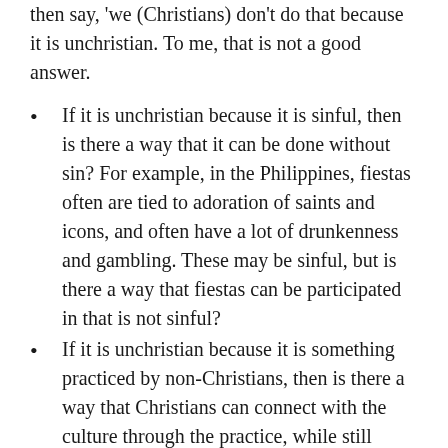then say, 'we (Christians) don't do that because it is unchristian. To me, that is not a good answer.
If it is unchristian because it is sinful, then is there a way that it can be done without sin? For example, in the Philippines, fiestas often are tied to adoration of saints and icons, and often have a lot of drunkenness and gambling. These may be sinful, but is there a way that fiestas can be participated in that is not sinful?
If it is unchristian because it is something practiced by non-Christians, then is there a way that Christians can connect with the culture through the practice, while still being Christian. For example, if one is in a Muslim country where Ramadan is widely practiced, is there a way that Christians can show that they are part of the